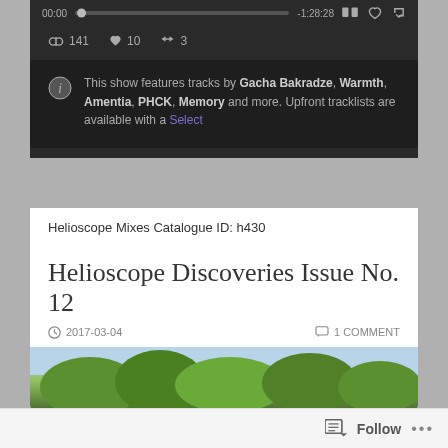[Figure (screenshot): Podcast/audio player dark UI showing progress bar with timestamps 00:00 and -1:28:28, stats showing headphones 141, heart 10, repost 3, and info box with track credits]
This show features tracks by Gacha Bakradze, Warmth, Amentia, PHCK, Memory and more. Upfront tracklists are available with a Select
Helioscope Mixes Catalogue ID: h430
Helioscope Discoveries Issue No. 12
2017-03-04  1 COMMENT
[Figure (photo): Partial view of trees with green foliage against a light sky]
Follow  ...